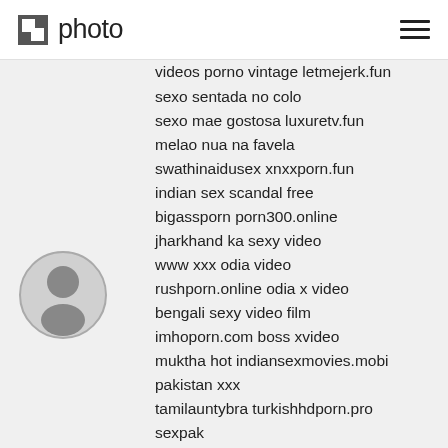photo
[Figure (logo): Photo app logo with square icon and 'photo' text]
videos porno vintage letmejerk.fun
sexo sentada no colo
sexo mae gostosa luxuretv.fun
melao nua na favela
swathinaidusex xnxxporn.fun
indian sex scandal free
bigassporn porn300.online
jharkhand ka sexy video
www xxx odia video
rushporn.online odia x video
bengali sexy video film
imhoporn.com boss xvideo
muktha hot indiansexmovies.mobi
pakistan xxx
tamilauntybra turkishhdporn.pro
sexpak
babilona nude tubesafari.pro
auntysexvideo
ooo sex indian indianpornvideos.pro
xxvieos
[Figure (illustration): Generic user avatar circle icon]